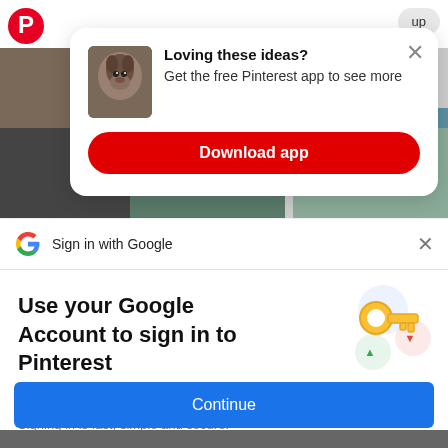[Figure (screenshot): Pinterest app popup with dog photo thumbnail showing 'Loving these ideas? Get the free Pinterest app to see more' and a red Download app button]
Sign in with Google
Use your Google Account to sign in to Pinterest
No more passwords to remember.
Signing in is fast, simple and secure.
[Figure (illustration): Google key illustration with colorful circles]
Continue